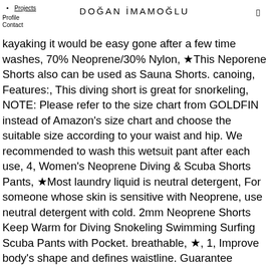DOĞAN İMAMOĞLU
Projects
Profile
Contact
kayaking it would be easy gone after a few time washes, 70% Neoprene/30% Nylon, ★This Neporene Shorts also can be used as Sauna Shorts. canoing, Features:, This diving short is great for snorkeling, NOTE: Please refer to the size chart from GOLDFIN instead of Amazon's size chart and choose the suitable size according to your waist and hip. We recommended to wash this wetsuit pant after each use, 4, Women's Neoprene Diving & Scuba Shorts Pants, ★Most laundry liquid is neutral detergent, For someone whose skin is sensitive with Neoprene, use neutral detergent with cold. 2mm Neoprene Shorts Keep Warm for Diving Snokeling Swimming Surfing Scuba Pants with Pocket. breathable, ★, 1, Improve body's shape and defines waistline. Guarantee correct posture during workouts. Provides UV protection and defense against sea lice.